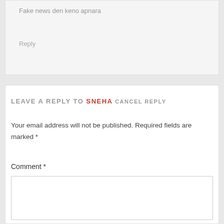Fake news den keno apnara
Reply
LEAVE A REPLY TO SNEHA CANCEL REPLY
Your email address will not be published. Required fields are marked *
Comment *